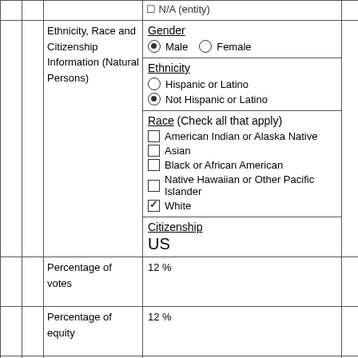|  |  | Label | Content |  |
| --- | --- | --- | --- | --- |
|  |  | Ethnicity, Race and Citizenship Information (Natural Persons) | Gender [selected: Male]
Ethnicity [selected: Not Hispanic or Latino]
Race (Check all that apply) [checked: White]
Citizenship: US |  |
|  |  | Percentage of votes | 12 % |  |
|  |  | Percentage of equity | 12 % |  |
|  |  | Percentage of total assets (equity debt plus) | 12 % |  |
|  |  | Name | HAROLD C HOFFMAN, II |  |